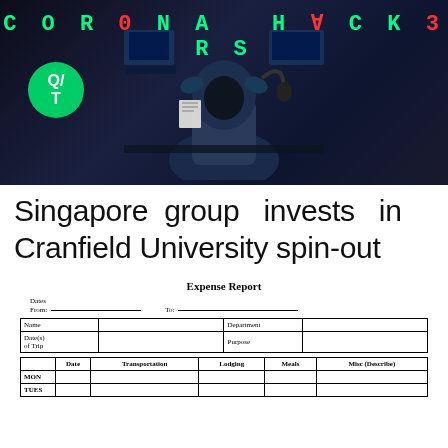[Figure (photo): Dark background image of a hacker/person with hood at a computer desk, with 'COR0NA H∀CK3RS' text in green/red at top and a green Q/T logo circle on the left]
Singapore group invests in Cranfield University spin-out
Expense Report
Dates
From: _____ To: _____
| Name |  | Department |  |
| --- | --- | --- | --- |
| Date(s) of Trip |  | Purpose |  |
|  | Date | Transportation | Lodging | Meals | Misc (Describe) |
| --- | --- | --- | --- | --- | --- |
| MON |  |  |  |  |  |
| TUES |  |  |  |  |  |